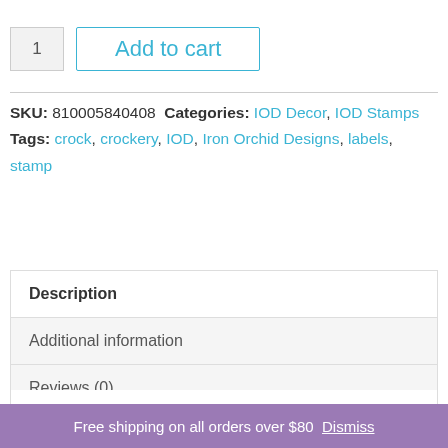1
Add to cart
SKU: 810005840408  Categories: IOD Decor, IOD Stamps  Tags: crock, crockery, IOD, Iron Orchid Designs, labels, stamp
Description
Additional information
Reviews (0)
Description
Crockery Stamp
Free shipping on all orders over $80  Dismiss